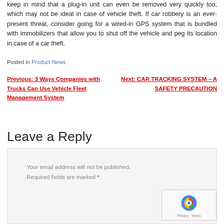keep in mind that a plug-in unit can even be removed very quickly too, which may not be ideal in case of vehicle theft. If car robbery is an ever-present threat, consider going for a wired-in GPS system that is bundled with immobilizers that allow you to shut off the vehicle and peg its location in case of a car theft.
Posted in Product News
Previous: 3 Ways Companies with Trucks Can Use Vehicle Fleet Management System
Next: CAR TRACKING SYSTEM – A SAFETY PRECAUTION
Leave a Reply
Your email address will not be published. Required fields are marked *